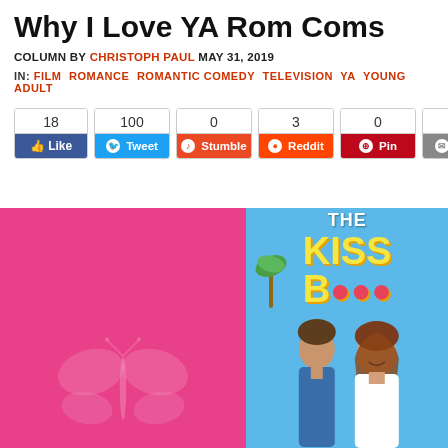Why I Love YA Rom Coms
COLUMN BY CHRISTOPH PAUL MAY 31, 2019
IN: FILM ROMANCE ROMANTIC COMEDY TELEVISION YA YOUNG ADULT
[Figure (screenshot): Social sharing buttons row showing Facebook Like (18), Tweet (100), Stumble (0), Reddit (3), Pin (0), Email (62), and a green share button]
[Figure (photo): Two movie posters side by side: left is a pink poster with a butterfly illustration, right is The Kissing Booth movie poster with two young actors against a blue sky background]